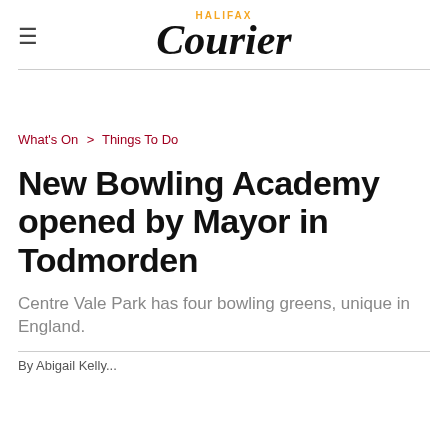HALIFAX Courier
What's On > Things To Do
New Bowling Academy opened by Mayor in Todmorden
Centre Vale Park has four bowling greens, unique in England.
By Abigail Kelly...